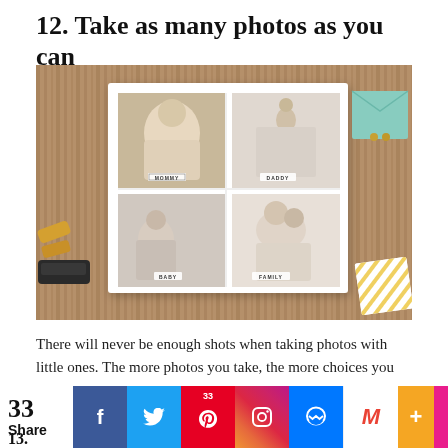12. Take as many photos as you can
[Figure (photo): Photo collage card with four baby/family photos arranged in a 2x2 grid, placed on a wooden surface with a teal envelope, stapler, and gold-striped paper nearby. The card sections are labeled MOMMY, DADDY, BABY, and FAMILY.]
There will never be enough shots when taking photos with little ones. The more photos you take, the more choices you have.
33 Share  f  [twitter]  33 [pinterest]  [instagram]  [messenger]  M  +  13.